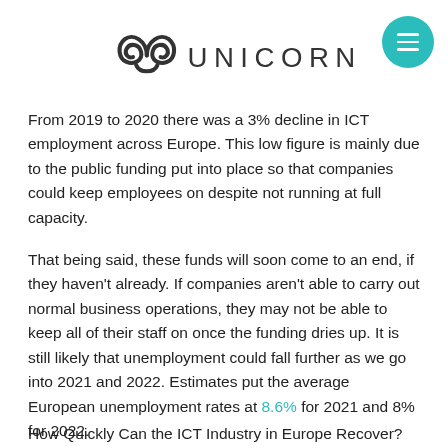UNICORN
From 2019 to 2020 there was a 3% decline in ICT employment across Europe. This low figure is mainly due to the public funding put into place so that companies could keep employees on despite not running at full capacity.
That being said, these funds will soon come to an end, if they haven't already. If companies aren't able to carry out normal business operations, they may not be able to keep all of their staff on once the funding dries up. It is still likely that unemployment could fall further as we go into 2021 and 2022. Estimates put the average European unemployment rates at 8.6% for 2021 and 8% for 2022.
How Quickly Can the ICT Industry in Europe Recover?